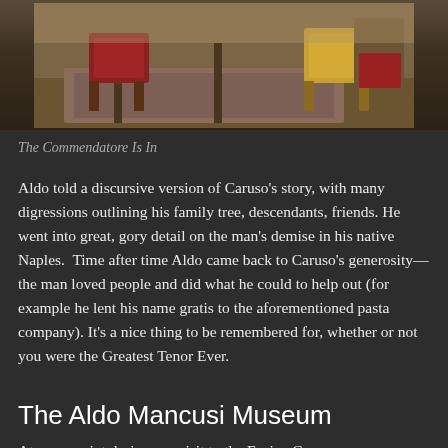[Figure (photo): Interior room photo showing chairs with red cushions and a patterned rug, partially visible at the top of the page]
The Commendatore Is In
Aldo told a discursive version of Caruso's story, with many digressions outlining his family tree, descendants, friends. He went into great, gory detail on the man's demise in his native Naples.  Time after time Aldo came back to Caruso's generosity— the man loved people and did what he could to help out (for example he lent his name gratis to the aforementioned pasta company). It's a nice thing to be remembered for, whether or not you were the Greatest Tenor Ever.
The Aldo Mancusi Museum
At some point during my visit to the Enrico Caruso